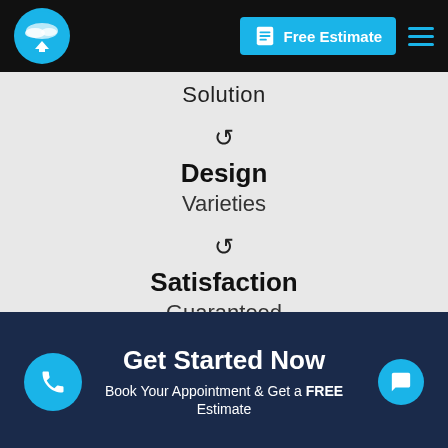Free Estimate
Solution
↺ Design Varieties
↺ Satisfaction Guaranteed
Get Started Now
Book Your Appointment & Get a FREE Estimate